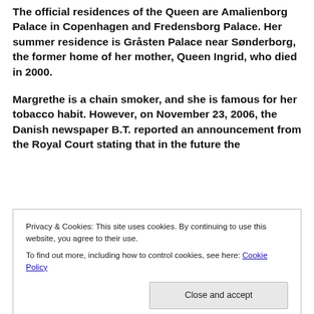The official residences of the Queen are Amalienborg Palace in Copenhagen and Fredensborg Palace. Her summer residence is Gråsten Palace near Sønderborg, the former home of her mother, Queen Ingrid, who died in 2000.
Margrethe is a chain smoker, and she is famous for her tobacco habit. However, on November 23, 2006, the Danish newspaper B.T. reported an announcement from the Royal Court stating that in the future the
Privacy & Cookies: This site uses cookies. By continuing to use this website, you agree to their use.
To find out more, including how to control cookies, see here: Cookie Policy
Close and accept
for Danish editions of The Lord of the Rings, which